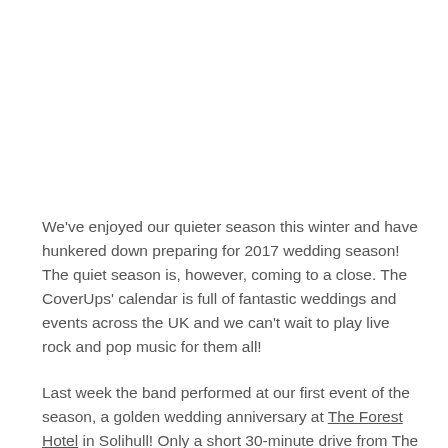We've enjoyed our quieter season this winter and have hunkered down preparing for 2017 wedding season! The quiet season is, however, coming to a close. The CoverUps' calendar is full of fantastic weddings and events across the UK and we can't wait to play live rock and pop music for them all!
Last week the band performed at our first event of the season, a golden wedding anniversary at The Forest Hotel in Solihull! Only a short 30-minute drive from The CoverUps HQ in Coventry, the hotel is tucked away in the small town of Dorridge. The Forest Hotel was the perfect